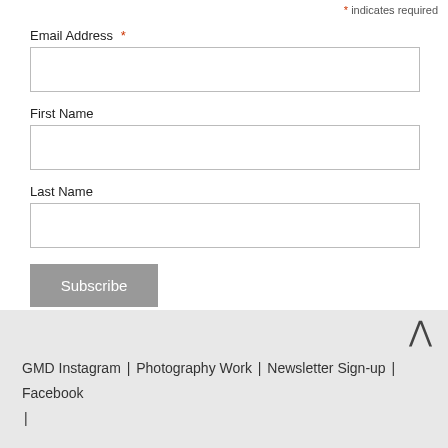* indicates required
Email Address *
First Name
Last Name
Subscribe
GMD Instagram | Photography Work | Newsletter Sign-up | Facebook |